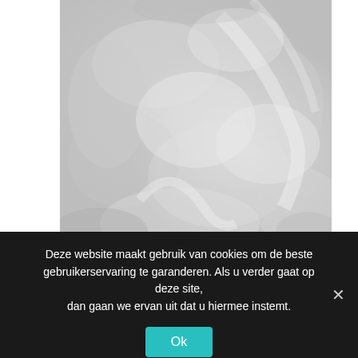[Figure (photo): A textured light grey concrete or plaster wall surface with mottled, cloudy patterns of slightly darker and lighter grey tones.]
Deze website maakt gebruik van cookies om de beste gebruikerservaring te garanderen. Als u verder gaat op deze site, dan gaan we ervan uit dat u hiermee instemt.